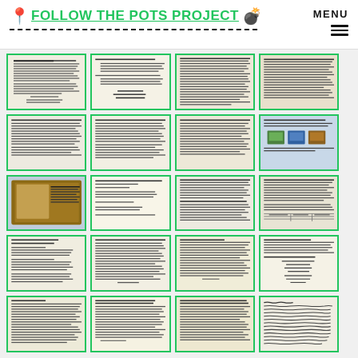FOLLOW THE POTS PROJECT — MENU
[Figure (screenshot): Grid of 20 document thumbnail images showing scanned typed/handwritten documents, organized in a 4x5 grid with green borders]
[Figure (screenshot): Thumbnail 1: Typed document with header text and body paragraphs]
[Figure (screenshot): Thumbnail 2: Typed document with indented list items]
[Figure (screenshot): Thumbnail 3: Typed document with dense text]
[Figure (screenshot): Thumbnail 4: Typed document with dense text on beige paper]
[Figure (screenshot): Thumbnail 5: Typed document on cream paper]
[Figure (screenshot): Thumbnail 6: Typed document on cream paper with text]
[Figure (screenshot): Thumbnail 7: Typed document with text]
[Figure (screenshot): Thumbnail 8: Blue paper with colorful photographs/images visible]
[Figure (screenshot): Thumbnail 9: Blue/handwritten document with photo of brown object]
[Figure (screenshot): Thumbnail 10: Typed letter format document]
[Figure (screenshot): Thumbnail 11: Typed document with multiple paragraphs]
[Figure (screenshot): Thumbnail 12: Typed document with dense text and possible table]
[Figure (screenshot): Thumbnail 13: Typed document with header and body]
[Figure (screenshot): Thumbnail 14: Typed document]
[Figure (screenshot): Thumbnail 15: Typed document with text paragraphs]
[Figure (screenshot): Thumbnail 16: Typed document with signatures/names listed]
[Figure (screenshot): Thumbnail 17: Typed document]
[Figure (screenshot): Thumbnail 18: Typed document with numbered items]
[Figure (screenshot): Thumbnail 19: Typed document with paragraphs]
[Figure (screenshot): Thumbnail 20: Handwritten document]